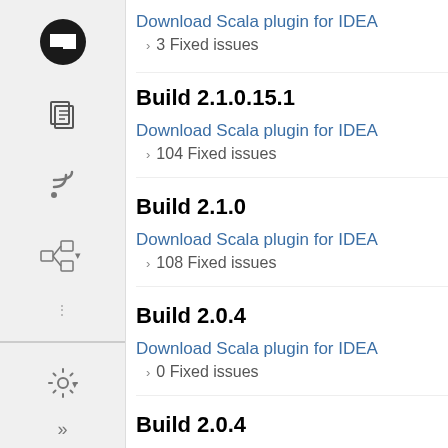Download Scala plugin for IDEA
› 3 Fixed issues
Build 2.1.0.15.1
Download Scala plugin for IDEA
› 104 Fixed issues
Build 2.1.0
Download Scala plugin for IDEA
› 108 Fixed issues
Build 2.0.4
Download Scala plugin for IDEA
› 0 Fixed issues
Build 2.0.4
Download Scala plugin for IDEA
› 2 Fixed issues